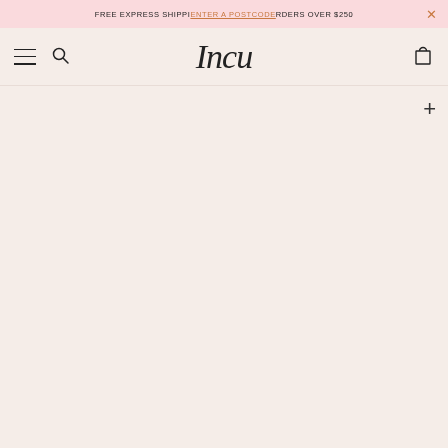FREE EXPRESS SHIPPING Enter a postcode RDERS OVER $250
[Figure (logo): Incu script logo in italic serif font]
[Figure (other): Blank pinkish-beige product image area with a plus button in top-right corner]